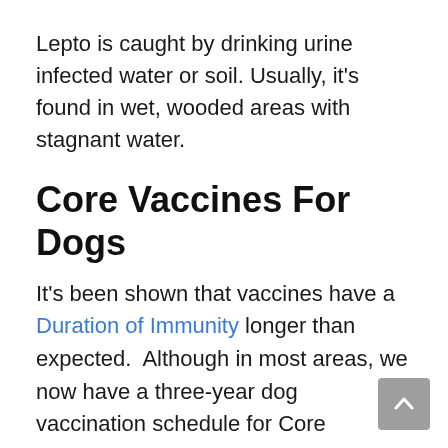Lepto is caught by drinking urine infected water or soil. Usually, it's found in wet, wooded areas with stagnant water.
Core Vaccines For Dogs
It's been shown that vaccines have a Duration of Immunity longer than expected.  Although in most areas, we now have a three-year dog vaccination schedule for Core vaccines, this may need updating.  The CORE vaccines for dogs in Canada are: Rabies (usually required